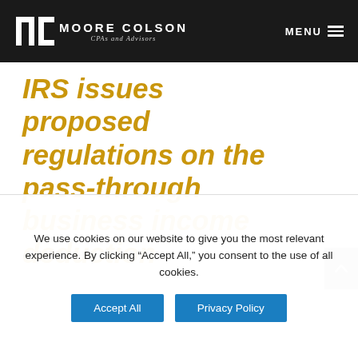Moore Colson CPAs and Advisors | MENU
IRS issues proposed regulations on the pass-through business income deduction
We use cookies on our website to give you the most relevant experience. By clicking “Accept All,” you consent to the use of all cookies.